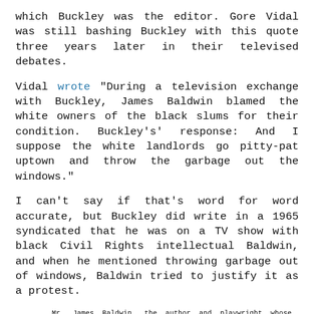which Buckley was the editor. Gore Vidal was still bashing Buckley with this quote three years later in their televised debates.
Vidal wrote "During a television exchange with Buckley, James Baldwin blamed the white owners of the black slums for their condition. Buckley's' response: And I suppose the white landlords go pitty-pat uptown and throw the garbage out the windows."
I can't say if that's word for word accurate, but Buckley did write in a 1965 syndicated that he was on a TV show with black Civil Rights intellectual Baldwin, and when he mentioned throwing garbage out of windows, Baldwin tried to justify it as a protest.
Mr. James Baldwin, the author and playwright whose reputation is in part owing to his fine writing, in part to the implacability of    his theme (Hate the System) has said a couple of discouraging things on a television program (in which I participated).  To wit, that as regards the Negro, "things couldn't be worse." And that Negroes who throw their garbage out on the streets are doing so--legitimately, he suggests--as a form of protest against their plight.